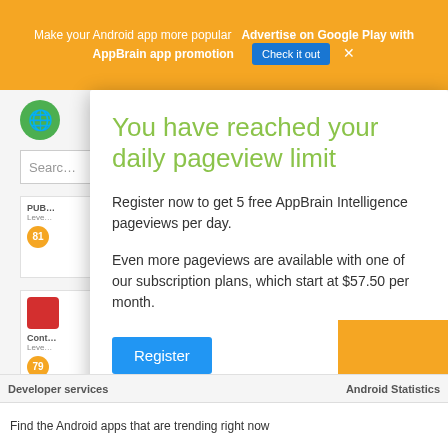Make your Android app more popular  Advertise on Google Play with AppBrain app promotion  Check it out  ×
You have reached your daily pageview limit
Register now to get 5 free AppBrain Intelligence pageviews per day.
Even more pageviews are available with one of our subscription plans, which start at $57.50 per month.
Register
Are you the developer of this app? Claim your app to get free and unrestricted access to your app and developer data.
Find the Android apps that are trending right now
Developer services   Android Statistics